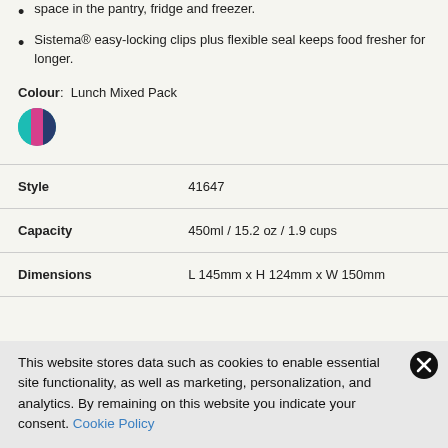space in the pantry, fridge and freezer.
Sistema® easy-locking clips plus flexible seal keeps food fresher for longer.
Colour: Lunch Mixed Pack
[Figure (illustration): A circular colour swatch showing a mixed pack of colours: teal/cyan on the left, magenta/pink in the middle, and dark blue on the right.]
|  |  |
| --- | --- |
| Style | 41647 |
| Capacity | 450ml / 15.2 oz / 1.9 cups |
| Dimensions | L 145mm x H 124mm x W 150mm |
This website stores data such as cookies to enable essential site functionality, as well as marketing, personalization, and analytics. By remaining on this website you indicate your consent. Cookie Policy